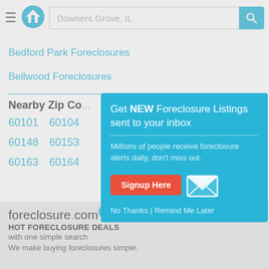Downers Grove, IL
Bedford Park Foreclosures
Bellwood Foreclosures
Nearby Zip Co...
60101  60104
60148  60153
60163  60164
[Figure (screenshot): Popup modal: Get NEW Foreclosure Listings sent to your inbox. Millions of people receive foreclosure alerts daily, don't miss out. Signup Here button. No Thanks | Remind Me Later links.]
foreclosure.com HOT FORECLOSURE DEALS with one simple search. We make buying foreclosures simple.